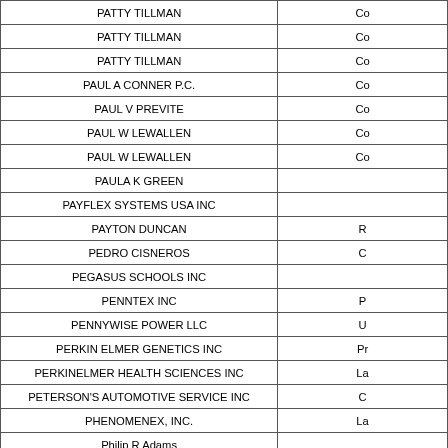| Name | Type (partial) |
| --- | --- |
| PATTY TILLMAN | Co |
| PATTY TILLMAN | Co |
| PATTY TILLMAN | Co |
| PAUL A CONNER P.C. | Co |
| PAUL V PREVITE | Co |
| PAUL W LEWALLEN | Co |
| PAUL W LEWALLEN | Co |
| PAULA K GREEN |  |
| PAYFLEX SYSTEMS USA INC |  |
| PAYTON DUNCAN | R |
| PEDRO CISNEROS | C |
| PEGASUS SCHOOLS INC |  |
| PENNTEX INC | P |
| PENNYWISE POWER LLC | U |
| PERKIN ELMER GENETICS INC | Pr |
| PERKINELMER HEALTH SCIENCES INC | La |
| PETERSON'S AUTOMOTIVE SERVICE INC | C |
| PHENOMENEX, INC. | La |
| Philip R Adams |  |
| PHILLIPS LAWN SPRINKLER CO | Lan |
| PHILLIPS LAWN SPRINKLER CO | Lan |
| PHOENIX PROPERTY MANAGEMENT | P |